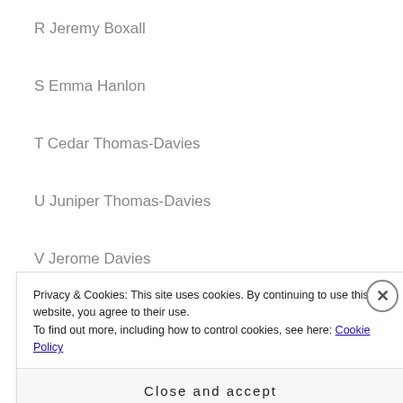R Jeremy Boxall
S Emma Hanlon
T Cedar Thomas-Davies
U Juniper Thomas-Davies
V Jerome Davies
W Nicky Thomas-Davies
Privacy & Cookies: This site uses cookies. By continuing to use this website, you agree to their use. To find out more, including how to control cookies, see here: Cookie Policy
Close and accept